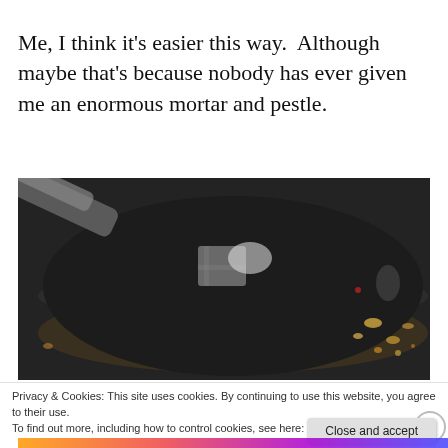Me, I think it's easier this way.  Although maybe that's because nobody has ever given me an enormous mortar and pestle.
[Figure (photo): Close-up photo of a large black mortar (grinding bowl) on a dark surface with food crumbs scattered around it, with a metal pestle visible at the top left.]
Privacy & Cookies: This site uses cookies. By continuing to use this website, you agree to their use.
To find out more, including how to control cookies, see here: Cookie Policy